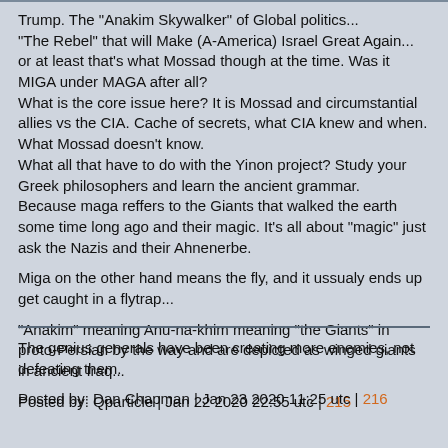Trump. The "Anakim Skywalker" of Global politics...
"The Rebel" that will Make (A-America) Israel Great Again...
or at least that's what Mossad though at the time. Was it MIGA under MAGA after all?
What is the core issue here? It is Mossad and circumstantial allies vs the CIA. Cache of secrets, what CIA knew and when. What Mossad doesn't know.
What all that have to do with the Yinon project? Study your Greek philosophers and learn the ancient grammar.
Because maga reffers to the Giants that walked the earth some time long ago and their magic. It's all about "magic" just ask the Nazis and their Ahnenerbe.
Miga on the other hand means the fly, and it ussualy ends up get caught in a flytrap...
"Anakim" meaning Anu-na-khim meaning "the Giants" in proto-Persian by the way and are depicted as winged giants in ancient Iraq...
Posted by: Qparticle | Jan 22 2020 22:55 utc | 215
The genius generals have been creating more enemies, not defeating them.
Posted by: Dan Chapman | Jan 23 2020 11:25 utc | 216